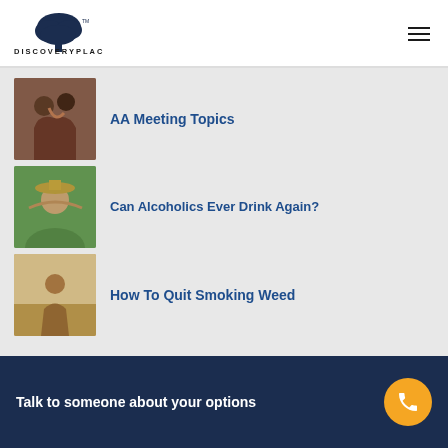[Figure (logo): Discovery Place logo with tree icon and text DISCOVERYPLACE]
[Figure (photo): Two people hugging, one appears to be a child and one an adult, thumbnail image for AA Meeting Topics article]
AA Meeting Topics
[Figure (photo): Woman smiling outdoors with hat, thumbnail image for Can Alcoholics Ever Drink Again? article]
Can Alcoholics Ever Drink Again?
[Figure (photo): Person sitting on beach or outdoor setting, thumbnail image for How To Quit Smoking Weed article]
How To Quit Smoking Weed
Talk to someone about your options